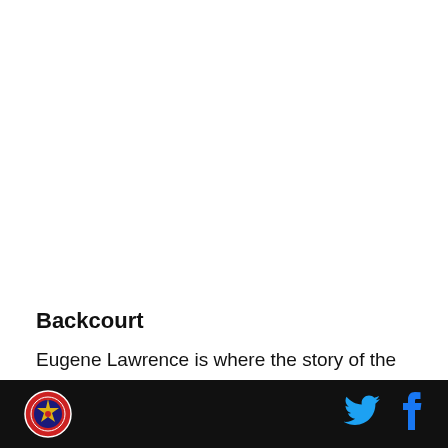Backcourt
Eugene Lawrence is where the story of the backcourt begins. He was the assist leader in the Big East in the 2006-07 season. And he turned over the ball almost as
[Figure (logo): Round red and blue sports team logo/badge in the bottom left footer]
[Figure (logo): Twitter bird icon in blue in the bottom right footer]
[Figure (logo): Facebook 'f' icon in blue in the bottom right footer]